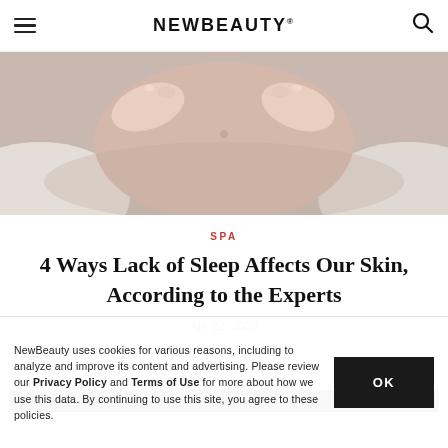NEWBEAUTY
[Figure (photo): Close-up of hands performing a massage or skin treatment on a person's upper back/neck area. Hands with nude-painted nails are visible pressing into skin.]
SPA
4 Ways Lack of Sleep Affects Our Skin, According to the Experts
Apr 22, 2020
[Figure (photo): Partially visible second article image, dark toned.]
NewBeauty uses cookies for various reasons, including to analyze and improve its content and advertising. Please review our Privacy Policy and Terms of Use for more about how we use this data. By continuing to use this site, you agree to these policies.